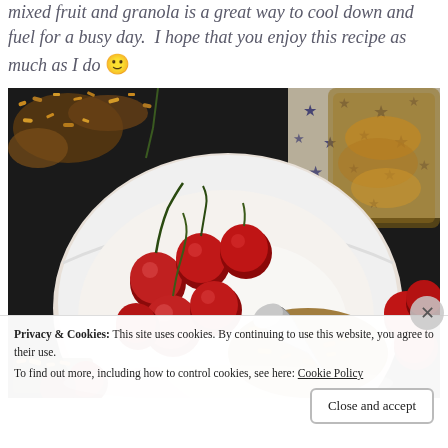mixed fruit and granola is a great way to cool down and fuel for a busy day. I hope that you enjoy this recipe as much as I do 🙂
[Figure (photo): A white bowl filled with yogurt, fresh cherries, and granola with a spoon. Granola scattered on dark background, jar of granola and star-patterned cloth in background.]
Privacy & Cookies: This site uses cookies. By continuing to use this website, you agree to their use. To find out more, including how to control cookies, see here: Cookie Policy
Close and accept